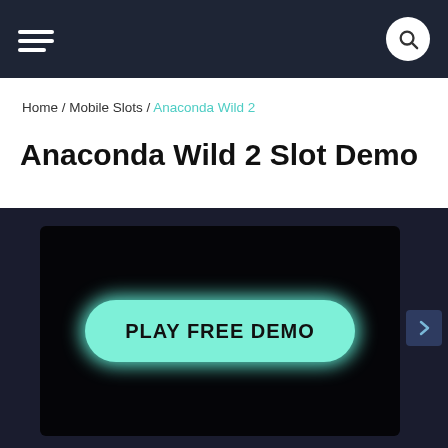Navigation header with hamburger menu and search button
Home / Mobile Slots / Anaconda Wild 2
Anaconda Wild 2 Slot Demo
[Figure (screenshot): Dark game interface panel with a teal/mint colored 'PLAY FREE DEMO' button in the center, on a near-black background]